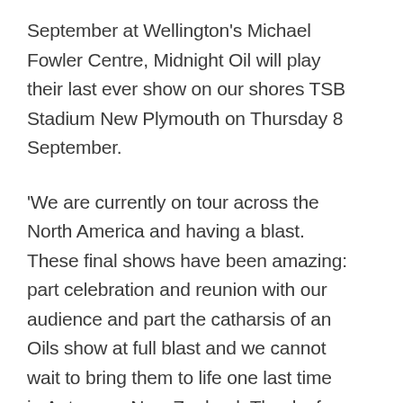September at Wellington's Michael Fowler Centre, Midnight Oil will play their last ever show on our shores TSB Stadium New Plymouth on Thursday 8 September.
'We are currently on tour across the North America and having a blast. These final shows have been amazing: part celebration and reunion with our audience and part the catharsis of an Oils show at full blast and we cannot wait to bring them to life one last time in Aotearoa, New Zealand. Thanks for bearing with us and we'll see you on the road! – Midnight Oil